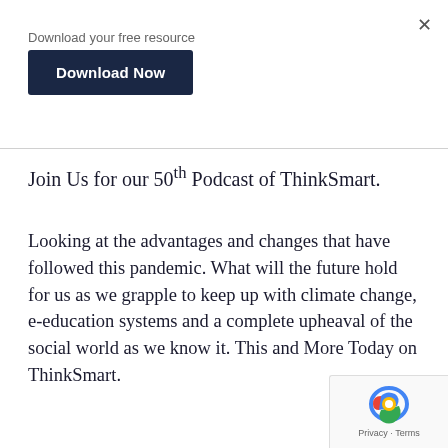Download your free resource
Download Now
Join Us for our 50th Podcast of ThinkSmart.
Looking at the advantages and changes that have followed this pandemic. What will the future hold for us as we grapple to keep up with climate change, e-education systems and a complete upheaval of the social world as we know it. This and More Today on ThinkSmart.
[Figure (logo): reCAPTCHA logo with Privacy and Terms text]